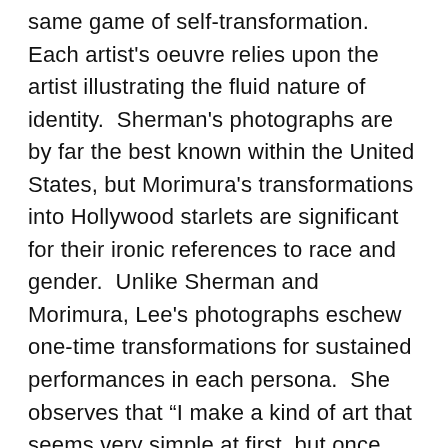same game of self-transformation.  Each artist's oeuvre relies upon the artist illustrating the fluid nature of identity.  Sherman's photographs are by far the best known within the United States, but Morimura's transformations into Hollywood starlets are significant for their ironic references to race and gender.  Unlike Sherman and Morimura, Lee's photographs eschew one-time transformations for sustained performances in each persona.  She observes that “I make a kind of art that seems very simple at first, but once you peel off the layers you find many stories inside it” (Lee).  Her photographs as a group demonstrate the oddly social aspect of defining individuality.  Each artist’s sustained output comprises a sincere pretense.